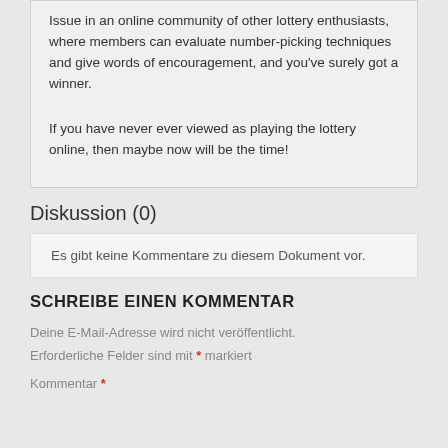Issue in an online community of other lottery enthusiasts, where members can evaluate number-picking techniques and give words of encouragement, and you've surely got a winner.
If you have never ever viewed as playing the lottery online, then maybe now will be the time!
Diskussion (0)
Es gibt keine Kommentare zu diesem Dokument vor.
SCHREIBE EINEN KOMMENTAR
Deine E-Mail-Adresse wird nicht veröffentlicht.
Erforderliche Felder sind mit * markiert
Kommentar *